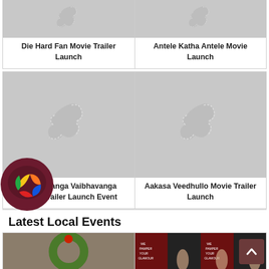[Figure (photo): Placeholder thumbnail (top-cropped) for Die Hard Fan Movie Trailer Launch]
[Figure (photo): Placeholder thumbnail (top-cropped) for Antele Katha Antele Movie Launch]
Die Hard Fan Movie Trailer Launch
Antele Katha Antele Movie Launch
[Figure (photo): Placeholder thumbnail for Ranga Ranga Vaibhavanga Movie Trailer Launch Event]
[Figure (photo): Placeholder thumbnail for Aakasa Veedhullo Movie Trailer Launch]
Ranga Ranga Vaibhavanga Movie Trailer Launch Event
Aakasa Veedhullo Movie Trailer Launch
[Figure (logo): Chat app floating icon with colorful logo on dark maroon circle background]
Latest Local Events
[Figure (photo): Two event photos partially visible at the bottom of the page]
[Figure (other): Scroll-to-top button arrow icon, bottom right corner]